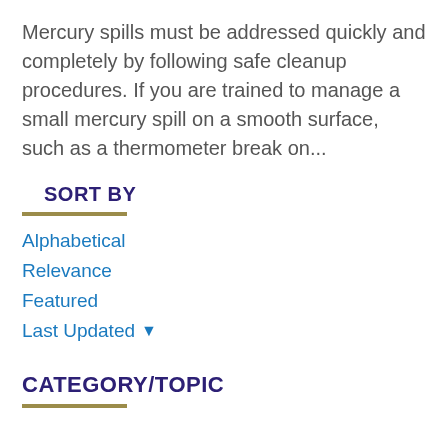Mercury spills must be addressed quickly and completely by following safe cleanup procedures. If you are trained to manage a small mercury spill on a smooth surface, such as a thermometer break on...
SORT BY
Alphabetical
Relevance
Featured
Last Updated ▾
CATEGORY/TOPIC